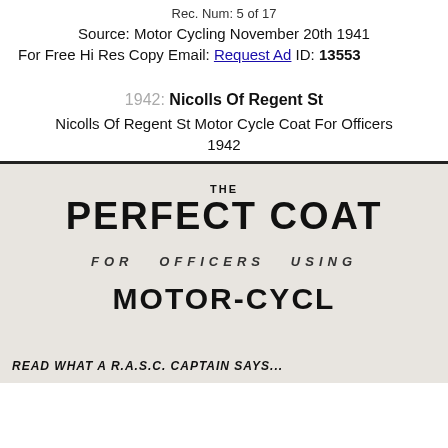Rec. Num: 5 of 17
Source: Motor Cycling November 20th 1941
For Free Hi Res Copy Email: Request Ad ID: 13553
1942: Nicolls Of Regent St
Nicolls Of Regent St Motor Cycle Coat For Officers 1942
[Figure (photo): Vintage advertisement for Nicolls Of Regent St showing 'THE PERFECT COAT FOR OFFICERS USING MOTOR-CYCL...' with text 'READ WHAT A R.A.S.C. CAPTAIN SAYS...' from Motor Cycling November 20th 1941]